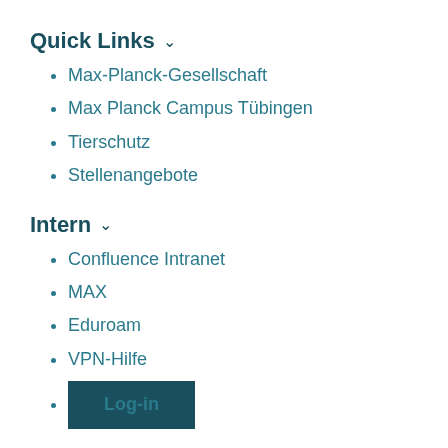Quick Links ⌄
Max-Planck-Gesellschaft
Max Planck Campus Tübingen
Tierschutz
Stellenangebote
Intern ⌄
Confluence Intranet
MAX
Eduroam
VPN-Hilfe
Log-in